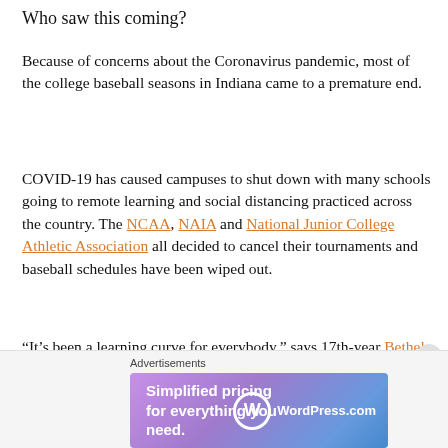Who saw this coming?
Because of concerns about the Coronavirus pandemic, most of the college baseball seasons in Indiana came to a premature end.
COVID-19 has caused campuses to shut down with many schools going to remote learning and social distancing practiced across the country. The NCAA, NAIA and National Junior College Athletic Association all decided to cancel their tournaments and baseball schedules have been wiped out.
“It’s been a learning curve for everybody,” says 17th-year Bethel University coach Seth Zartman. “Everything just happened so fast. It almost seems surreal.”
Advertisements
[Figure (other): WordPress.com advertisement banner: 'Simplified pricing for everything you need.']